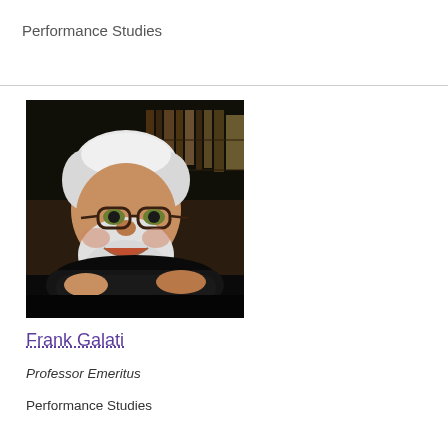Performance Studies
[Figure (photo): Headshot of Frank Galati, an older man with white hair and beard, wearing glasses and a black shirt, smiling with arms crossed, with bookshelves in the background.]
Frank Galati
Professor Emeritus
Performance Studies